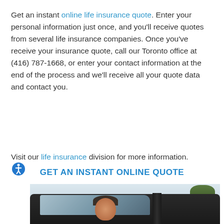Get an instant online life insurance quote. Enter your personal information just once, and you'll receive quotes from several life insurance companies. Once you've receive your insurance quote, call our Toronto office at (416) 787-1668, or enter your contact information at the end of the process and we'll receive all your quote data and contact you.
Visit our life insurance division for more information.
GET AN INSTANT ONLINE QUOTE
[Figure (photo): A smiling man sitting in the driver's seat of a car, seen through the open car window, with trees and sky visible in the background.]